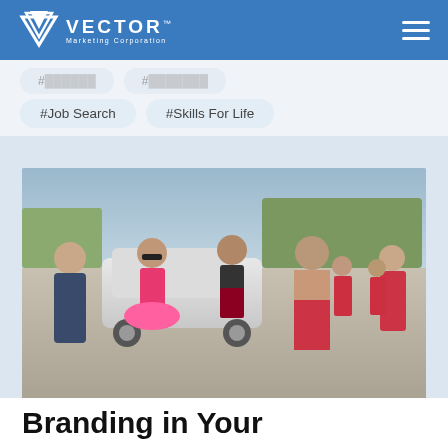Vector Marketing Corporation
#Job Search
#Skills For Life
[Figure (photo): Group of people running in a fun run event, some shirtless and in costumes including pink tutus, red and black outfits. A white car is visible in the background on a street.]
Branding in Your